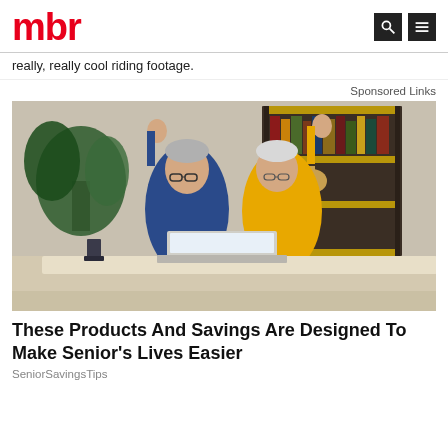mbr
really, really cool riding footage.
Sponsored Links
[Figure (photo): An older couple sitting at a desk with a laptop, both raising their fists in celebration. Bookshelves and a plant are visible in the background.]
These Products And Savings Are Designed To Make Senior's Lives Easier
SeniorSavingsTips